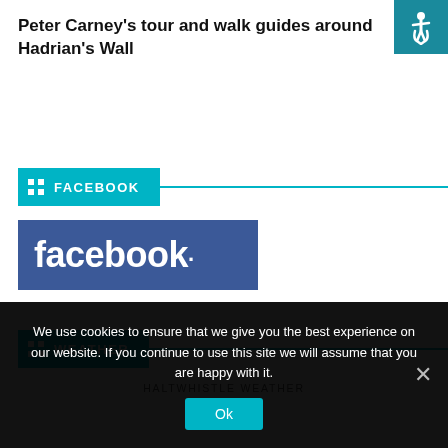Peter Carney's tour and walk guides around Hadrian's Wall
FACEBOOK
[Figure (logo): Facebook logo - white 'facebook.' text on blue background]
WEATHER
HALTWHISTLE WEATHER
We use cookies to ensure that we give you the best experience on our website. If you continue to use this site we will assume that you are happy with it.